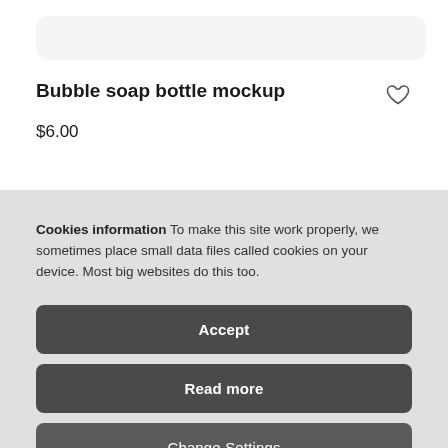[Figure (other): Rounded rectangle image placeholder (product image area)]
Bubble soap bottle mockup
$6.00
Cookies information To make this site work properly, we sometimes place small data files called cookies on your device. Most big websites do this too.
Accept
Read more
Change Settings